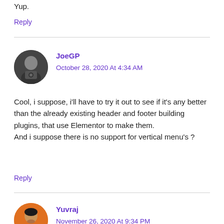Yup.
Reply
JoeGP
October 28, 2020 At 4:34 AM
Cool, i suppose, i'll have to try it out to see if it's any better than the already existing header and footer building plugins, that use Elementor to make them.
And i suppose there is no support for vertical menu's ?
Reply
Yuvraj
November 26, 2020 At 9:34 PM